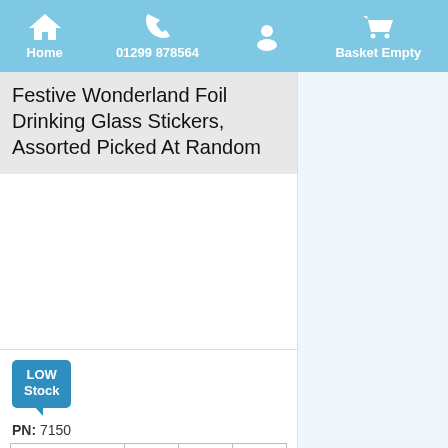Home  01299 878564  Basket Empty
Festive Wonderland Foil Drinking Glass Stickers, Assorted Picked At Random
[Figure (photo): White blank product image area]
[Figure (other): LOW Stock badge in blue]
PN: 7150
| Each | 6 | 12 | 24 |
| --- | --- | --- | --- |
| £0.54 Ex VAT | £0.51 | £0.48 | £0.45 |